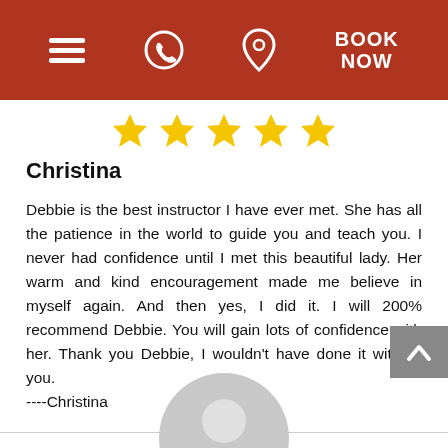BOOK NOW
[Figure (other): Five gold star rating icons in a row]
Christina
Debbie is the best instructor I have ever met. She has all the patience in the world to guide you and teach you. I never had confidence until I met this beautiful lady. Her warm and kind encouragement made me believe in myself again. And then yes, I did it. I will 200% recommend Debbie. You will gain lots of confidence with her. Thank you Debbie, I wouldn't have done it without you.
----Christina
[Figure (illustration): Gray user avatar silhouette at bottom of page]
[Figure (other): Back to top button with upward chevron arrow, gray square button at bottom right]